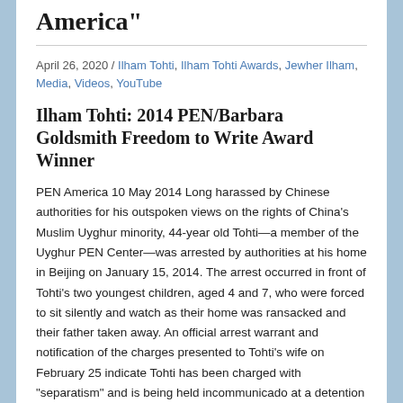America"
April 26, 2020 / Ilham Tohti, Ilham Tohti Awards, Jewher Ilham, Media, Videos, YouTube
Ilham Tohti: 2014 PEN/Barbara Goldsmith Freedom to Write Award Winner
PEN America 10 May 2014 Long harassed by Chinese authorities for his outspoken views on the rights of China’s Muslim Uyghur minority, 44-year old Tohti—a member of the Uyghur PEN Center—was arrested by authorities at his home in Beijing on January 15, 2014. The arrest occurred in front of Tohti’s two youngest children, aged 4 and 7, who were forced to sit silently and watch as their home was ransacked and their father taken away. An official arrest warrant and notification of the charges presented to Tohti’s wife on February 25 indicate Tohti has been charged with “separatism” and is being held incommunicado at a detention center